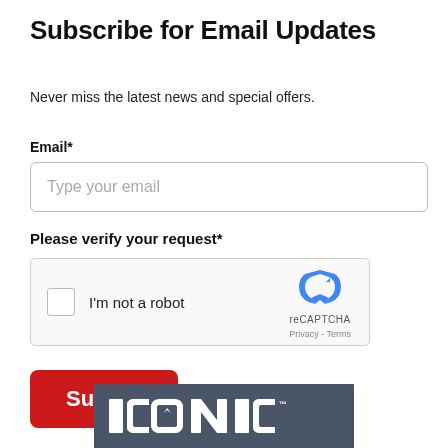Subscribe for Email Updates
Never miss the latest news and special offers.
Email*
Type your email
Please verify your request*
[Figure (other): reCAPTCHA widget with checkbox labeled I'm not a robot and reCAPTCHA logo with Privacy and Terms links]
Submit
[Figure (logo): ICONIC logo on dark grey/slate background]